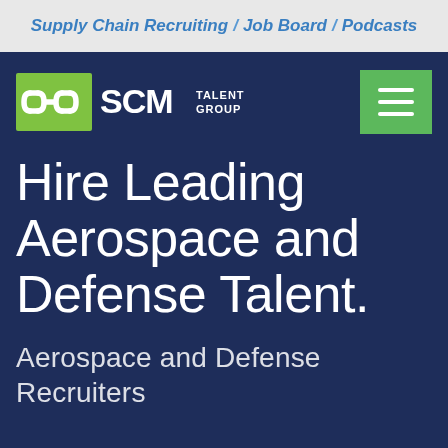Supply Chain Recruiting / Job Board / Podcasts
[Figure (logo): SCM Talent Group logo with chain icon and green background]
Hire Leading Aerospace and Defense Talent.
Aerospace and Defense Recruiters